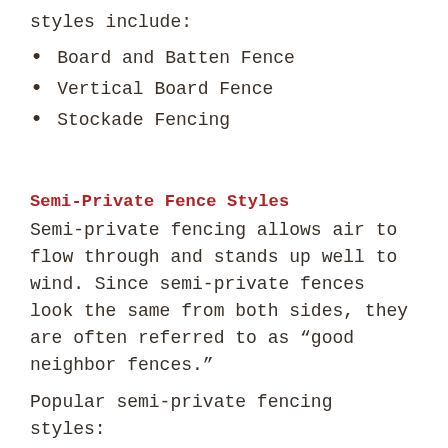styles include:
Board and Batten Fence
Vertical Board Fence
Stockade Fencing
Semi-Private Fence Styles
Semi-private fencing allows air to flow through and stands up well to wind. Since semi-private fences look the same from both sides, they are often referred to as “good neighbor fences.”
Popular semi-private fencing styles: